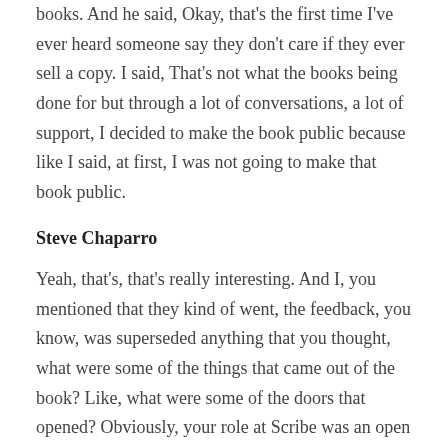books. And he said, Okay, that's the first time I've ever heard someone say they don't care if they ever sell a copy. I said, That's not what the books being done for but through a lot of conversations, a lot of support, I decided to make the book public because like I said, at first, I was not going to make that book public.
Steve Chaparro
Yeah, that's, that's really interesting. And I, you mentioned that they kind of went, the feedback, you know, was superseded anything that you thought, what were some of the things that came out of the book? Like, what were some of the doors that opened? Obviously, your role at Scribe was an open door as a product of that, but what were some of